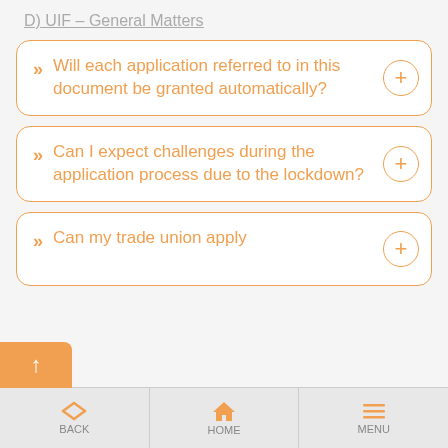D) UIF – General Matters
» Will each application referred to in this document be granted automatically?
» Can I expect challenges during the application process due to the lockdown?
» Can my trade union apply